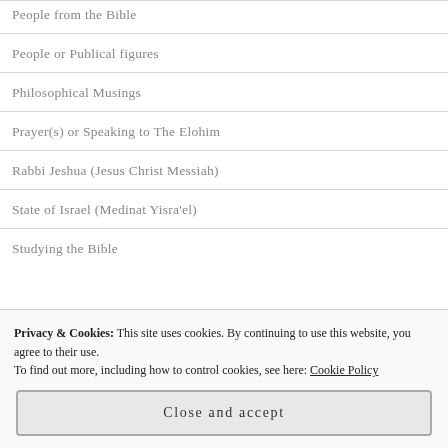People from the Bible
People or Publical figures
Philosophical Musings
Prayer(s) or Speaking to The Elohim
Rabbi Jeshua (Jesus Christ Messiah)
State of Israel (Medinat Yisra'el)
Studying the Bible
Privacy & Cookies: This site uses cookies. By continuing to use this website, you agree to their use. To find out more, including how to control cookies, see here: Cookie Policy
Video